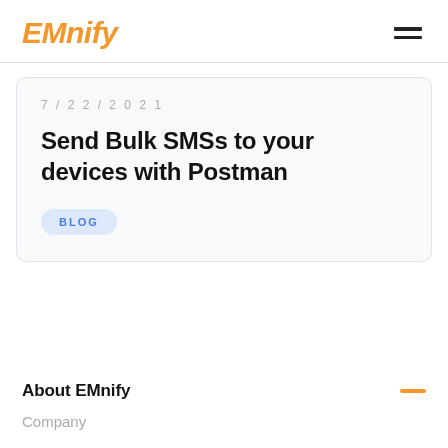EMnify
7/22/2021
Send Bulk SMSs to your devices with Postman
BLOG
About EMnify
Company